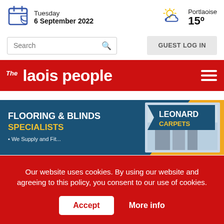Tuesday
6 September 2022
Portlaoise
15°
Search
GUEST LOG IN
[Figure (logo): The Laois People newspaper logo in white text on red background]
[Figure (illustration): Leonard Carpets advertisement banner – Flooring & Blinds Specialists with blue and yellow/orange design]
Our website uses cookies. By using our website and agreeing to this policy, you consent to our use of cookies.
Accept
More info